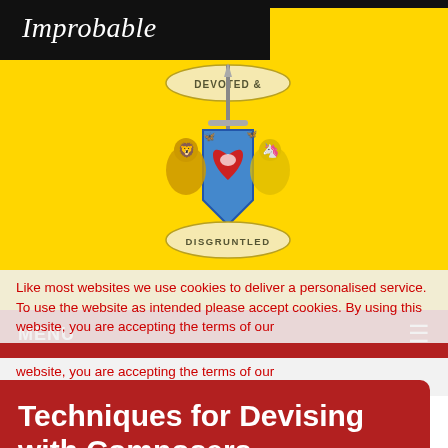Improbable
[Figure (illustration): Devoted & Disgruntled emblem: a red heart pierced by a sword on a blue shield, flanked by a golden lion and unicorn, with scrolls reading 'DEVOTED &' above and 'DISGRUNTLED' below, on a yellow background.]
Like most websites we use cookies to deliver a personalised service. To use the website as intended please accept cookies. By using this website, you are accepting the terms of our
MENU
website, you are accepting the terms of our
Techniques for Devising with Composers, Musicians